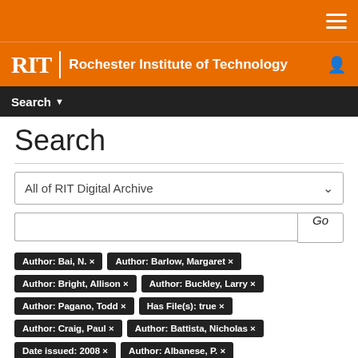RIT | Rochester Institute of Technology
Search
All of RIT Digital Archive
Go
Author: Bai, N. ×
Author: Barlow, Margaret ×
Author: Bright, Allison ×
Author: Buckley, Larry ×
Author: Pagano, Todd ×
Has File(s): true ×
Author: Craig, Paul ×
Author: Battista, Nicholas ×
Date issued: 2008 ×
Author: Albanese, P. ×
Author: MacDonald, Claire ×
Author: Allen, Virginia ×
Author: Newman, Dina ×
Show Advanced Filters